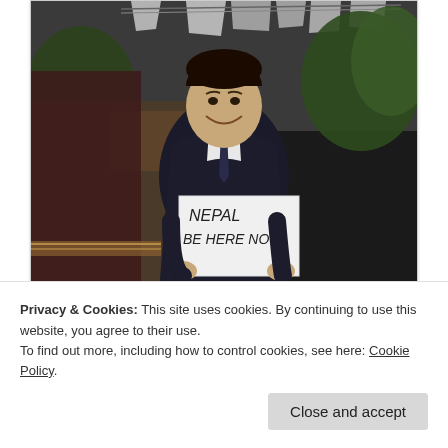[Figure (photo): A smiling man in a dark suit and tie holding a white sign that reads 'NEPAL BE HERE NOW', standing outdoors with trees and fabric/laundry hanging in the background.]
Suresh, world’s best Operations manager, from Hotel Manang, Kathmandu
Privacy & Cookies: This site uses cookies. By continuing to use this website, you agree to their use.
To find out more, including how to control cookies, see here: Cookie Policy